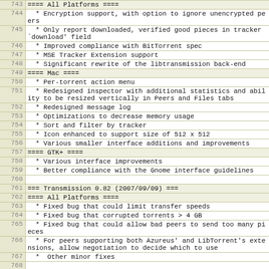| line | content |
| --- | --- |
| 743 | ==== All Platforms ==== |
| 744 |   * Encryption support, with option to ignore unencrypted peers |
| 745 |   * Only report downloaded, verified good pieces in tracker `download' field |
| 746 |   * Improved compliance with BitTorrent spec |
| 747 |   * MSE Tracker Extension support |
| 748 |   * Significant rewrite of the libtransmission back-end |
| 749 | ==== Mac ==== |
| 750 |   * Per-torrent action menu |
| 751 |   * Redesigned inspector with additional statistics and ability to be resized vertically in Peers and Files tabs |
| 752 |   * Redesigned message log |
| 753 |   * Optimizations to decrease memory usage |
| 754 |   * Sort and filter by tracker |
| 755 |   * Icon enhanced to support size of 512 x 512 |
| 756 |   * Various smaller interface additions and improvements |
| 757 | ==== GTK+ ==== |
| 758 |   * Various interface improvements |
| 759 |   * Better compliance with the Gnome interface guidelines |
| 760 |  |
| 761 | === Transmission 0.82 (2007/09/09) === |
| 762 | ==== All Platforms ==== |
| 763 |   * Fixed bug that could limit transfer speeds |
| 764 |   * Fixed bug that corrupted torrents > 4 GB |
| 765 |   * Fixed bug that could allow bad peers to send too many pieces |
| 766 |   * For peers supporting both Azureus' and LibTorrent's extensions, allow negotiation to decide which to use |
| 767 |   *  Other minor fixes |
| 768 |  |
| 769 | === Transmission 0.81 (2007/08/22) === |